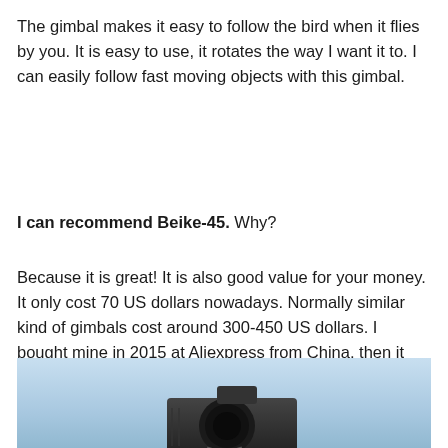The gimbal makes it easy to follow the bird when it flies by you. It is easy to use, it rotates the way I want it to. I can easily follow fast moving objects with this gimbal.
I can recommend Beike-45. Why?
Because it is great! It is also good value for your money. It only cost 70 US dollars nowadays. Normally similar kind of gimbals cost around 300-450 US dollars. I bought mine in 2015 at Aliexpress from China, then it cost me 78 US dollars. I got it delivered in 3 weeks. So if you are planning to go somewhere for wildlife photography order it in time for it to be delivered before you go on a trip.
[Figure (photo): Photo of a camera on a gimbal against a blue sky background]